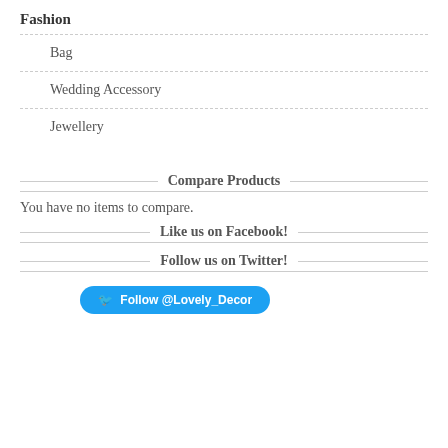Fashion
Bag
Wedding Accessory
Jewellery
Compare Products
You have no items to compare.
Like us on Facebook!
Follow us on Twitter!
Follow @Lovely_Decor